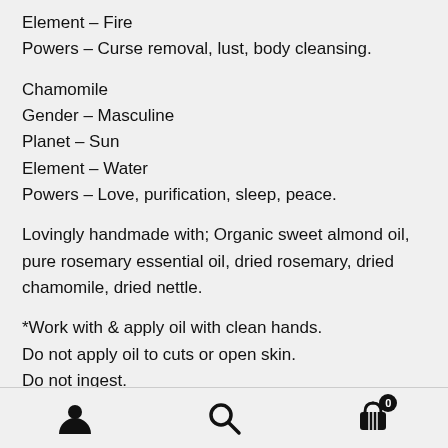Element – Fire
Powers – Curse removal, lust, body cleansing.
Chamomile
Gender – Masculine
Planet – Sun
Element – Water
Powers – Love, purification, sleep, peace.
Lovingly handmade with; Organic sweet almond oil, pure rosemary essential oil, dried rosemary, dried chamomile, dried nettle.
*Work with & apply oil with clean hands.
Do not apply oil to cuts or open skin.
Do not ingest.
[user icon] [search icon] [cart icon with badge 0]